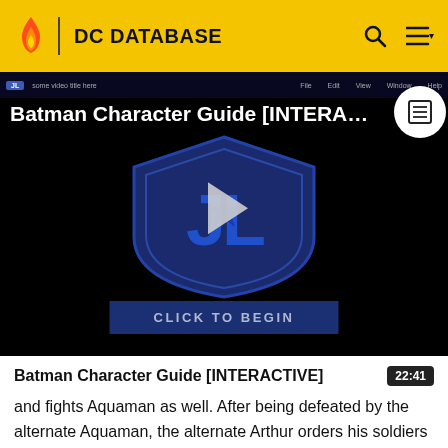DC DATABASE
[Figure (screenshot): Batman Character Guide [INTERACTIVE] video thumbnail with Justice League shield logo, play button, and 'CLICK TO BEGIN' button on dark background]
Batman Character Guide [INTERACTIVE]
22:41
and fights Aquaman as well. After being defeated by the alternate Aquaman, the alternate Arthur orders his soldiers to kill the newcomer. Before they can fight, Ares appears and freezes time, except for the two Aquamen